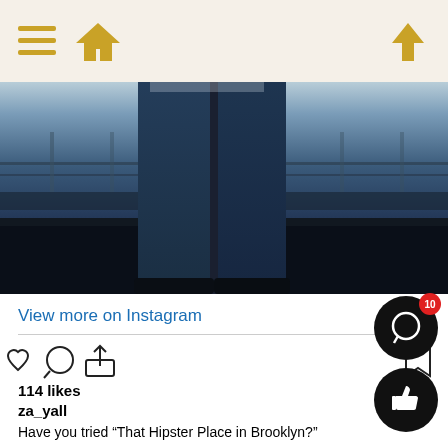Navigation bar with hamburger menu, home icon, and upload/share icon
[Figure (photo): Cropped photo showing lower half of person standing, wearing dark navy jeans, with a blurred urban/rooftop background]
View more on Instagram
[Figure (infographic): Instagram action icons: heart (like), speech bubble (comment), share/upload arrow, and bookmark icon on right]
114 likes
za_yall
Have you tried “That Hipster Place in Brooklyn?”

A lil’ bit sweet.🍯
A lil’ bit salty.🧂
A lil’ bit spicy.🌶️
Basically a party in your mouth.